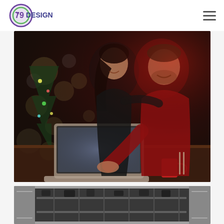79DESIGN logo and navigation menu
[Figure (photo): A couple smiling and looking at a laptop together in a warmly lit setting with a Christmas tree with bokeh lights in the background. The man wears a red sweater, the woman a dark top. Red holiday items are visible on the table.]
[Figure (photo): Partial view of a dishwasher or oven appliance interior, black and chrome, photographed in black and white.]